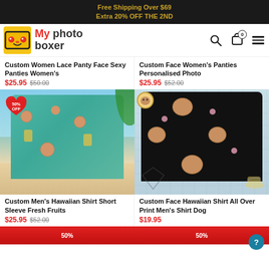Free Shipping Over $69
Extra 20% OFF THE 2ND
[Figure (logo): MyPhotoBoxer logo with yellow square icon and red/black text]
Custom Women Lace Panty Face Sexy Panties Women's
$25.95 $50.00
Custom Face Women's Panties Personalised Photo
$25.95 $52.00
[Figure (photo): Man wearing custom Hawaiian shirt with faces and tropical fruit print, beach background, 50% OFF badge]
[Figure (photo): Man wearing black custom Hawaiian shirt with dog faces and paw print pattern]
Custom Men's Hawaiian Shirt Short Sleeve Fresh Fruits
$25.95 $52.00
Custom Face Hawaiian Shirt All Over Print Men's Shirt Dog
$19.95
[Figure (photo): Partial product image with 50% badge, bottom of page]
[Figure (photo): Partial product image with 50% badge, bottom of page]